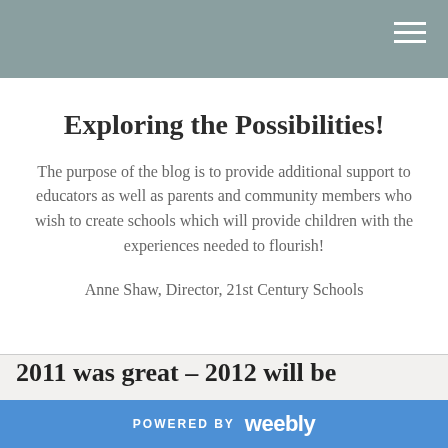Exploring the Possibilities!
The purpose of the blog is to provide additional support to educators as well as parents and community members who wish to create schools which will provide children with the experiences needed to flourish!
Anne Shaw, Director, 21st Century Schools
2011 was great - 2012 will be
POWERED BY weebly